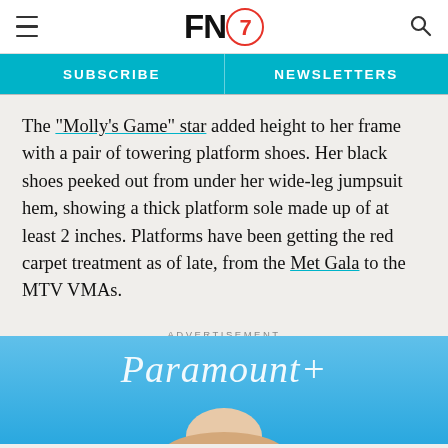FN7 [Footwear News logo]
SUBSCRIBE | NEWSLETTERS
The “Molly’s Game” star added height to her frame with a pair of towering platform shoes. Her black shoes peeked out from under her wide-leg jumpsuit hem, showing a thick platform sole made up of at least 2 inches. Platforms have been getting the red carpet treatment as of late, from the Met Gala to the MTV VMAs.
ADVERTISEMENT
[Figure (photo): Paramount+ event photo showing a person in front of a Paramount+ branded background, partially cropped at bottom of page]